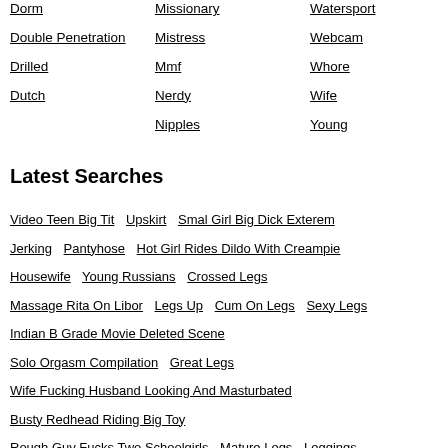Dorm
Double Penetration
Drilled
Dutch
Missionary
Mistress
Mmf
Nerdy
Nipples
Watersport
Webcam
Whore
Wife
Young
Latest Searches
Video Teen Big Tit  Upskirt  Smal Girl Big Dick Exterem
Jerking  Pantyhose  Hot Girl Rides Dildo With Creampie
Housewife  Young Russians  Crossed Legs
Massage Rita On Libor  Legs Up  Cum On Legs  Sexy Legs
Indian B Grade Movie Deleted Scene
Solo Orgasm Compilation  Great Legs
Wife Fucking Husband Looking And Masturbated
Busty Redhead Riding Big Toy
Rough Guy Fucks Two Schoolgirls  Mature Legs  Leggings